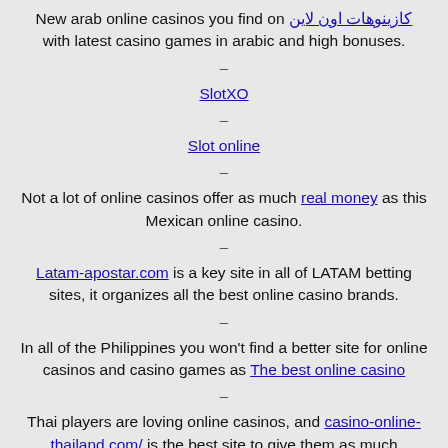New arab online casinos you find on كازينوهات اون لاين with latest casino games in arabic and high bonuses.
–
SlotXO
–
Slot online
–
Not a lot of online casinos offer as much real money as this Mexican online casino.
–
Latam-apostar.com is a key site in all of LATAM betting sites, it organizes all the best online casino brands.
–
In all of the Philippines you won't find a better site for online casinos and casino games as The best online casino
–
Thai players are loving online casinos, and casino-online-thailand.com/ is the best site to give them as much pleasure from such games.
–
Looking for online casinos in the Netherlands? Be sure to check 888casinonetherlands.com/it has some of the best online Casino games